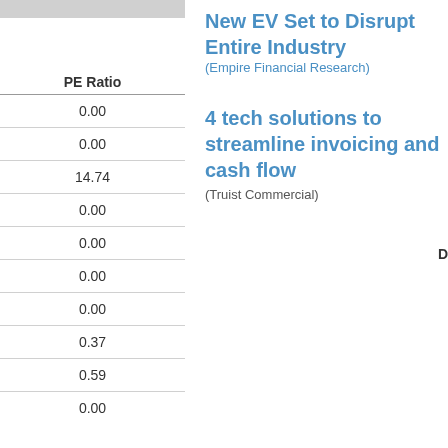| PE Ratio |
| --- |
| 0.00 |
| 0.00 |
| 14.74 |
| 0.00 |
| 0.00 |
| 0.00 |
| 0.00 |
| 0.37 |
| 0.59 |
| 0.00 |
New EV Set to Disrupt Entire Industry (Empire Financial Research)
4 tech solutions to streamline invoicing and cash flow (Truist Commercial)
D